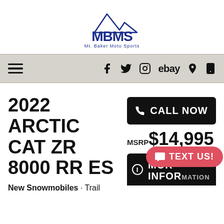[Figure (logo): MBMS Mt. Baker Moto Sports logo with mountain silhouette above the text]
Navigation bar with hamburger menu, Facebook, Twitter, Instagram, ebay, location pin, and phone icons
2022 ARCTIC CAT ZR 8000 RR ES
New Snowmobiles · Trail
CALL NOW
MSRP$14,995
MORE INFORMATION